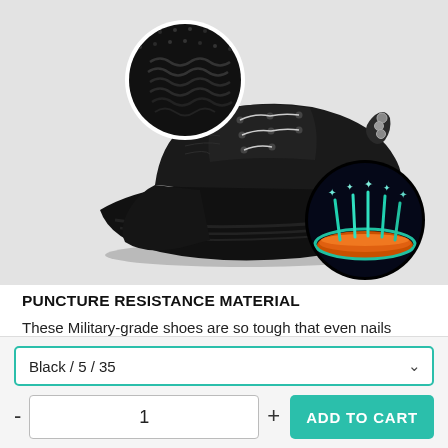[Figure (photo): Black athletic sneaker shoe with fabric texture close-up circle inset (top-left) and insole cross-section circle inset (bottom-right) showing orange cushioning layer with cyan arrows, on gray background]
PUNCTURE RESISTANCE MATERIAL
These Military-grade shoes are so tough that even nails won't be able to break through the shoes and keeps your feet safe from the workplace and environment.